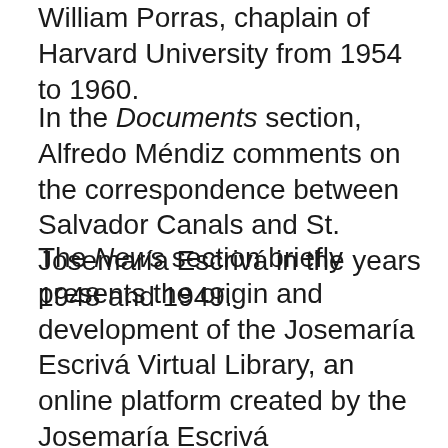William Porras, chaplain of Harvard University from 1954 to 1960.
In the Documents section, Alfredo Méndiz comments on the correspondence between Salvador Canals and St. Josemaría Escrivá in the years 1948 and 1949.
The News section briefly presents the origin and development of the Josemaría Escrivá Virtual Library, an online platform created by the Josemaría Escrivá Documentation and Studies Center, which disseminates academic works on Opus Dei, its founder and successors, members and some apostolic initiatives.
The Bibliographic section closes the volume. It presents details of fourteen recent...